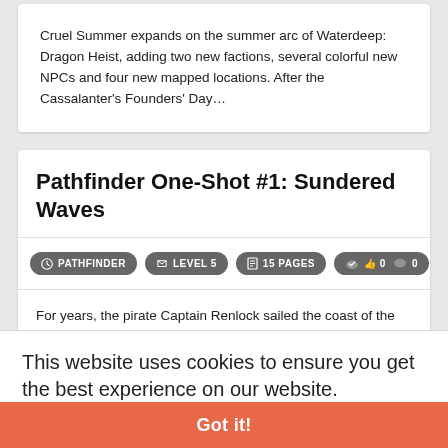Cruel Summer expands on the summer arc of Waterdeep: Dragon Heist, adding two new factions, several colorful new NPCs and four new mapped locations. After the Cassalanter's Founders' Day…
Pathfinder One-Shot #1: Sundered Waves
⚙ PATHFINDER   ⚑ LEVEL 5   📋 15 PAGES   👍 0 👎 0
For years, the pirate Captain Renlock sailed the coast of the Arcadian Ocean from the Shackles to the south to the waters of Varisia to the
This website uses cookies to ensure you get the best experience on our website.
Learn more
An artifact belonging to an ancient coatl god has been stolen from his shrine. Can the characters recover the Fangs of Oatali before the
Got it!